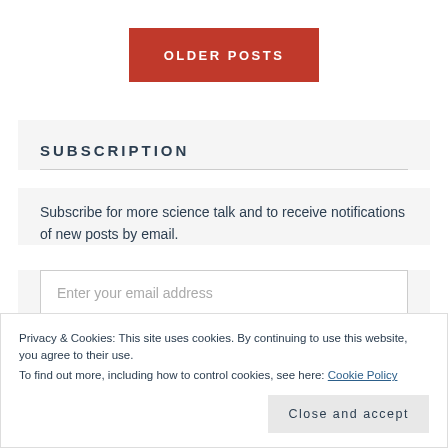OLDER POSTS
SUBSCRIPTION
Subscribe for more science talk and to receive notifications of new posts by email.
Enter your email address
Privacy & Cookies: This site uses cookies. By continuing to use this website, you agree to their use.
To find out more, including how to control cookies, see here: Cookie Policy
Close and accept